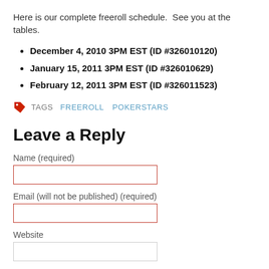Here is our complete freeroll schedule.  See you at the tables.
December 4, 2010 3PM EST (ID #326010120)
January 15, 2011 3PM EST (ID #326010629)
February 12, 2011 3PM EST (ID #326011523)
TAGS  FREEROLL  POKERSTARS
Leave a Reply
Name (required)
Email (will not be published) (required)
Website
Comment